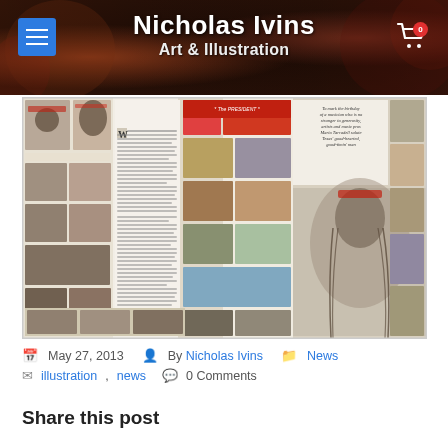Nicholas Ivins Art & Illustration
[Figure (illustration): Magazine spread collage of Willie Nelson portraits by various artists, showing numerous illustrated and painted versions of the musician, with text columns and a large pencil portrait on the right]
May 27, 2013  By Nicholas Ivins  News  illustration, news  0 Comments
Share this post